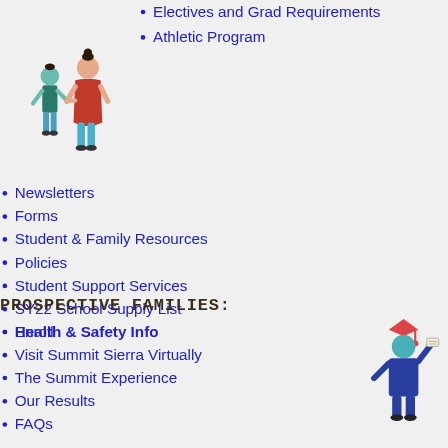Electives and Grad Requirements
Athletic Program
[Figure (illustration): Illustration of an adult woman in red holding hands with a small child in teal]
Newsletters
Forms
Student & Family Resources
Policies
Student Support Services
SY22 School Supply List
Health & Safety Info
PROSPECTIVE FAMILIES:
Enroll
Visit Summit Sierra Virtually
The Summit Experience
Our Results
FAQs
[Figure (illustration): Illustration of a graduate figure in blue holding diploma with red graduation cap]